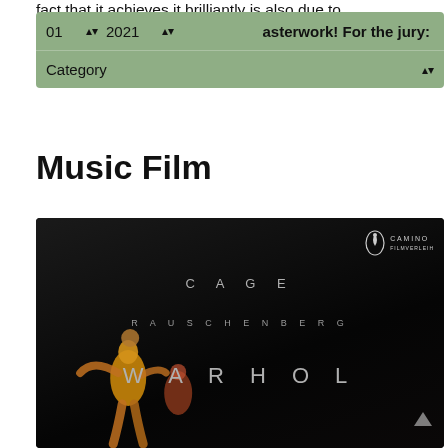fact that it achieves it brilliantly is also due to masterwork! For the jury:
[Figure (screenshot): Filter bar UI with dropdown selectors for month (01), year (2021), and Category, rendered in muted green/sage color]
Music Film
[Figure (photo): Movie poster for a film featuring CAGE, RAUSCHENBERG, WARHOL text on a dark background with a dancer in a yellow costume; Camino Filmverleih logo in top right]